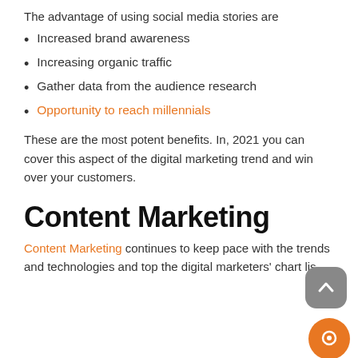The advantage of using social media stories are
Increased brand awareness
Increasing organic traffic
Gather data from the audience research
Opportunity to reach millennials
These are the most potent benefits. In, 2021 you can cover this aspect of the digital marketing trend and win over your customers.
Content Marketing
Content Marketing continues to keep pace with the trends and technologies and top the digital marketers' chart lis